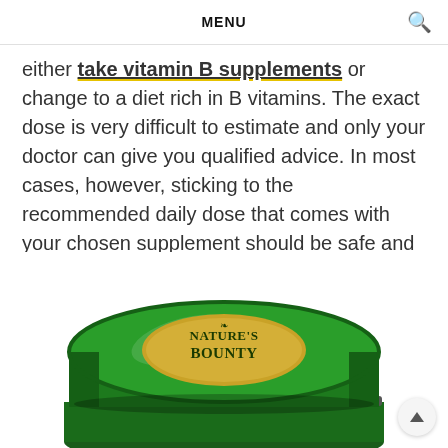MENU
either take vitamin B supplements or change to a diet rich in B vitamins. The exact dose is very difficult to estimate and only your doctor can give you qualified advice. In most cases, however, sticking to the recommended daily dose that comes with your chosen supplement should be safe and sufficient.
[Figure (photo): Close-up photo of a green Nature's Bounty supplement bottle showing the top cap with the Nature's Bounty logo in gold lettering on a dark green background.]